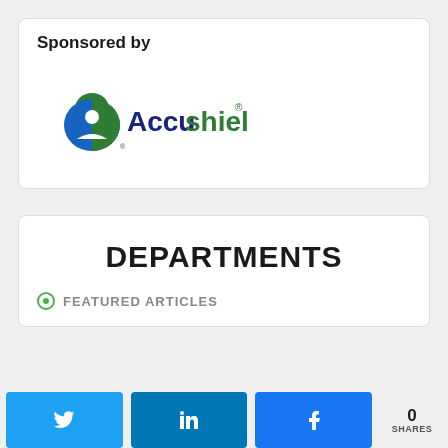Sponsored by
[Figure (logo): Accushield logo — a padlock icon in blue and green with a person silhouette, next to the text 'Accushield' in dark blue and green]
DEPARTMENTS
FEATURED ARTICLES
Twitter share button | LinkedIn share button | Facebook share button | 0 SHARES